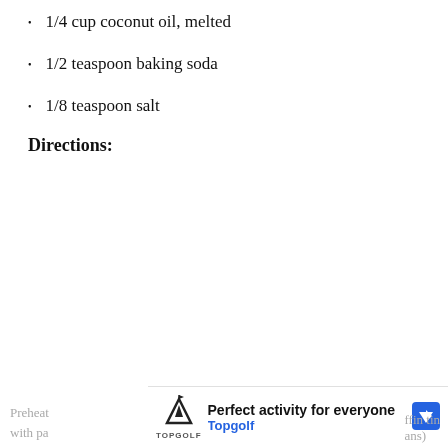1/4 cup coconut oil, melted
1/2 teaspoon baking soda
1/8 teaspoon salt
Directions:
Preheat ... ffin tin with pa... ans)